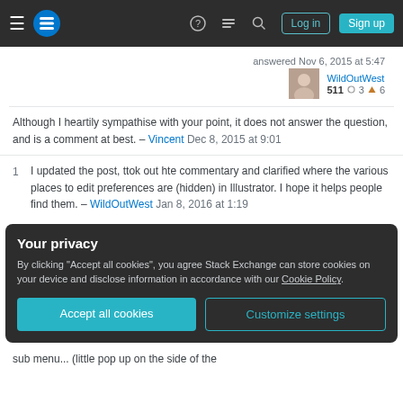Stack Exchange navigation bar with hamburger menu, logo, help, chat, search icons, Log in and Sign up buttons
answered Nov 6, 2015 at 5:47
WildOutWest 511 ○3 △6
Although I heartily sympathise with your point, it does not answer the question, and is a comment at best. – Vincent Dec 8, 2015 at 9:01
1   I updated the post, ttok out hte commentary and clarified where the various places to edit preferences are (hidden) in Illustrator. I hope it helps people find them. – WildOutWest Jan 8, 2016 at 1:19
Your privacy
By clicking "Accept all cookies", you agree Stack Exchange can store cookies on your device and disclose information in accordance with our Cookie Policy.
Accept all cookies   Customize settings
sub menu... (little pop up on the side of the